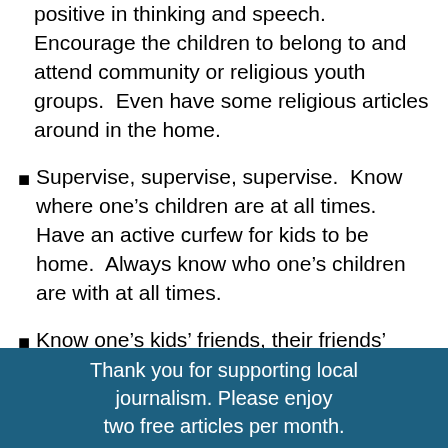positive in thinking and speech.  Encourage the children to belong to and attend community or religious youth groups.  Even have some religious articles around in the home.
Supervise, supervise, supervise.  Know where one's children are at all times.  Have an active curfew for kids to be home.  Always know who one's children are with at all times.
Know one's kids' friends, their friends' parents, and their parents' friends.  Sponsor parties at one's home for children and their friends.  It is easier to monitor drink, food, and behavior as long as one stays with the party.
Establish rules of behavior.  Be firm when enforcing
Thank you for supporting local journalism. Please enjoy two free articles per month.